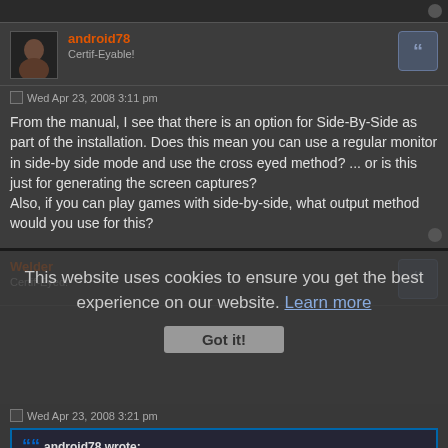android78
Certif-Eyable!
Wed Apr 23, 2008 3:11 pm
From the manual, I see that there is an option for Side-By-Side as part of the installation. Does this mean you can use a regular monitor in side-by side mode and use the cross eyed method? ... or is this just for generating the screen captures?
Also, if you can play games with side-by-side, what output method would you use for this?
Welder
Certif-Eyed!
Wed Apr 23, 2008 3:21 pm
android78 wrote:
From the manual, I see that there is an option for Side-By-Side as part of the installation. Does this mean you can use a regular monitor in